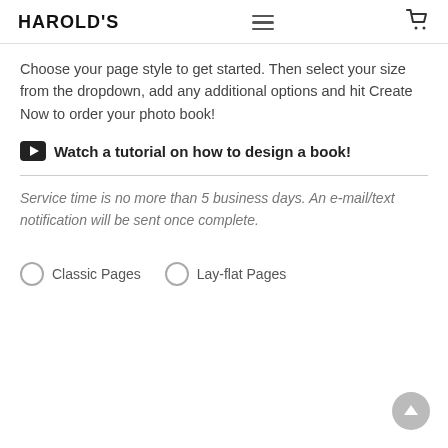HAROLD'S
Choose your page style to get started. Then select your size from the dropdown, add any additional options and hit Create Now to order your photo book!
▶ Watch a tutorial on how to design a book!
Service time is no more than 5 business days. An e-mail/text notification will be sent once complete.
Classic Pages
Lay-flat Pages